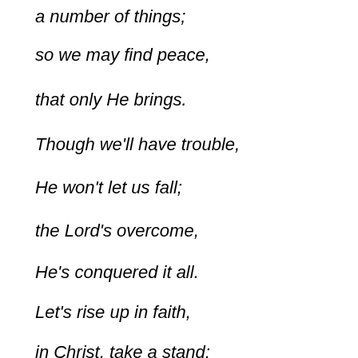a number of things;
so we may find peace,
that only He brings.
Though we'll have trouble,
He won't let us fall;
the Lord's overcome,
He's conquered it all.
Let's rise up in faith,
in Christ, take a stand;
for the Lord is good,